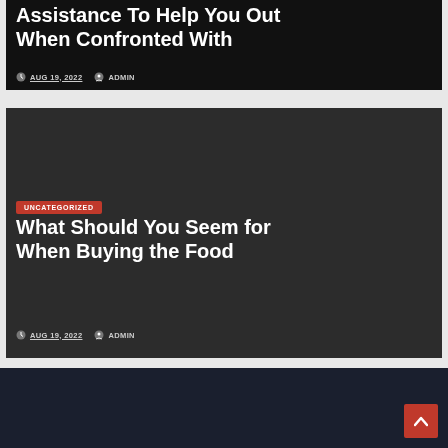Assistance To Help You Out When Confronted With
AUG 19, 2022  ADMIN
[Figure (screenshot): Dark card with article title and meta]
UNCATEGORIZED
What Should You Seem for When Buying the Food
AUG 19, 2022  ADMIN
[Figure (other): Dark navy footer with red back-to-top button]